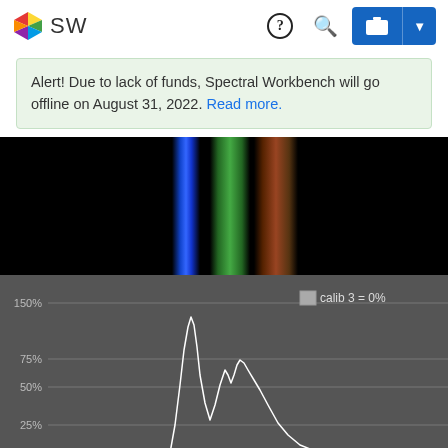SW
Alert! Due to lack of funds, Spectral Workbench will go offline on August 31, 2022. Read more.
[Figure (photo): Spectral image showing a vertical emission spectrum with blue, green, and red-orange spectral lines against a black background]
[Figure (continuous-plot): Spectral intensity plot on dark grey background showing a white line with peaks, y-axis showing percentages (150%, 75%, 50%, 25%), legend showing 'calib 3 = 0%']